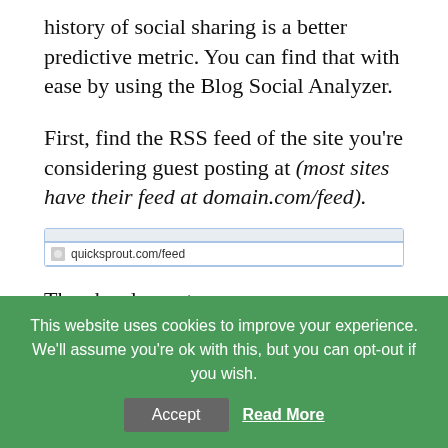history of social sharing is a better predictive metric. You can find that with ease by using the Blog Social Analyzer.
First, find the RSS feed of the site you're considering guest posting at (most sites have their feed at domain.com/feed).
[Figure (screenshot): Browser address bar showing quicksprout.com/feed]
Then head over to http://www.rypmarketing.com/tools/rss-social-
This website uses cookies to improve your experience. We'll assume you're ok with this, but you can opt-out if you wish.